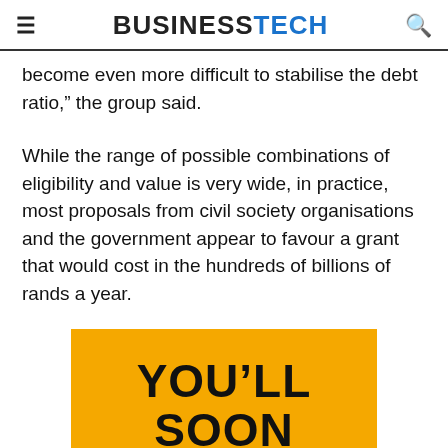BUSINESSTECH
become even more difficult to stabilise the debt ratio,” the group said.
While the range of possible combinations of eligibility and value is very wide, in practice, most proposals from civil society organisations and the government appear to favour a grant that would cost in the hundreds of billions of rands a year.
[Figure (infographic): Yellow promotional banner with bold black text reading: YOU’LL SOON BE ABLE TO REPORT]